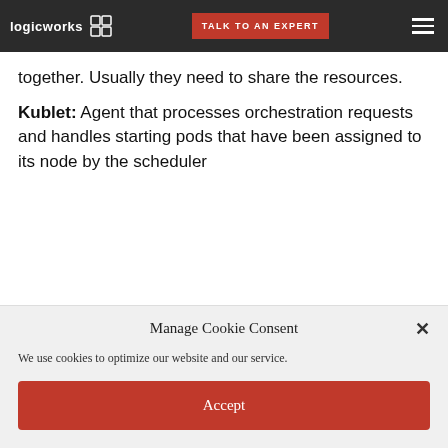logicworks | TALK TO AN EXPERT
together. Usually they need to share the resources.
Kublet: Agent that processes orchestration requests and handles starting pods that have been assigned to its node by the scheduler
Manage Cookie Consent
We use cookies to optimize our website and our service.
Accept